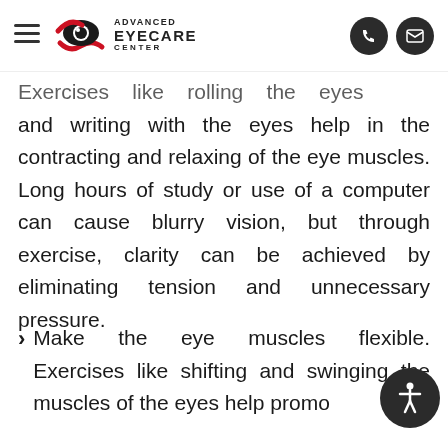Advanced Eyecare Center
Exercises like rolling the eyes and writing with the eyes help in the contracting and relaxing of the eye muscles. Long hours of study or use of a computer can cause blurry vision, but through exercise, clarity can be achieved by eliminating tension and unnecessary pressure.
Make the eye muscles flexible. Exercises like shifting and swinging the muscles of the eyes help promo... flexibility in the...